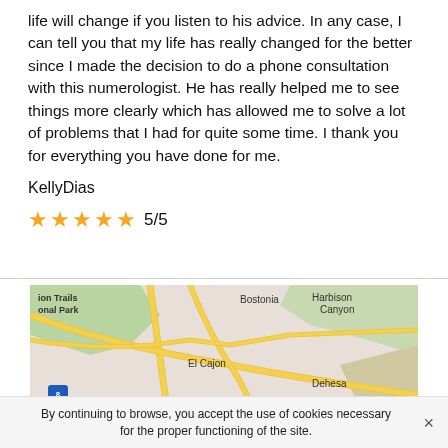life will change if you listen to his advice. In any case, I can tell you that my life has really changed for the better since I made the decision to do a phone consultation with this numerologist. He has really helped me to see things more clearly which has allowed me to solve a lot of problems that I had for quite some time. I thank you for everything you have done for me.
KellyDias
5/5
[Figure (map): Google Maps screenshot showing El Cajon area with Bostonia, Harbison Canyon, Dehesa, La Mesa, and Mission Trails Regional Park visible. Roads shown include Interstate 8.]
By continuing to browse, you accept the use of cookies necessary for the proper functioning of the site.